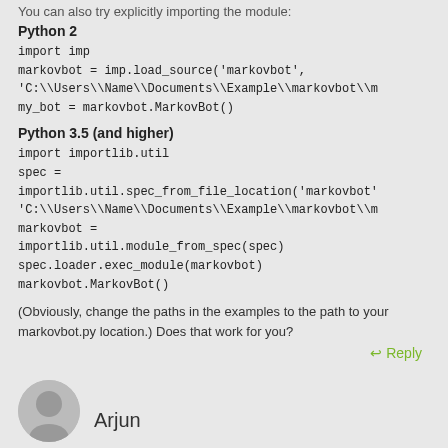You can also try explicitly importing the module:
Python 2
import imp
markovbot = imp.load_source('markovbot',
'C:\\Users\\Name\\Documents\\Example\\markovbot\\m
my_bot = markovbot.MarkovBot()
Python 3.5 (and higher)
import importlib.util
spec =
importlib.util.spec_from_file_location('markovbot'
'C:\\Users\\Name\\Documents\\Example\\markovbot\\m
markovbot =
importlib.util.module_from_spec(spec)
spec.loader.exec_module(markovbot)
markovbot.MarkovBot()
(Obviously, change the paths in the examples to the path to your markovbot.py location.) Does that work for you?
↩ Reply
Arjun